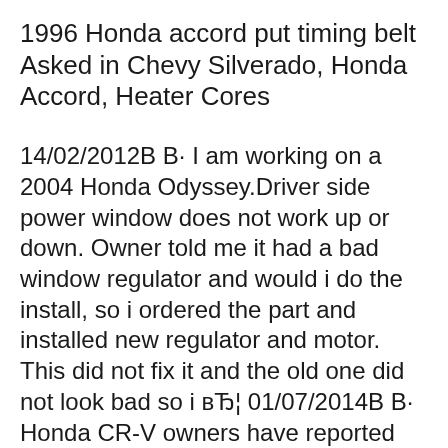1996 Honda accord put timing belt Asked in Chevy Silverado, Honda Accord, Heater Cores
14/02/2012В В· I am working on a 2004 Honda Odyssey.Driver side power window does not work up or down. Owner told me it had a bad window regulator and would i do the install, so i ordered the part and installed new regulator and motor. This did not fix it and the old one did not look bad so i вЂ¦ 01/07/2014В В· Honda CR-V owners have reported 21 problems related to power window (under the visibility category). The most recently reported issues are listed below. Also please check out the statistics and reliability